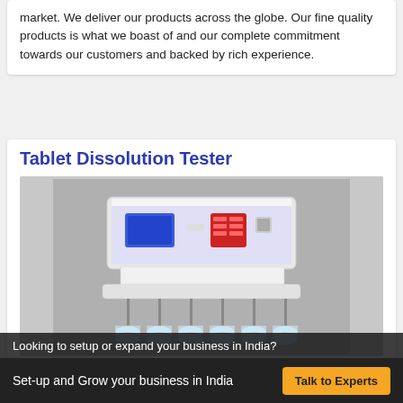market. We deliver our products across the globe. Our fine quality products is what we boast of and our complete commitment towards our customers and backed by rich experience.
Tablet Dissolution Tester
[Figure (photo): Photograph of a Tablet Dissolution Tester laboratory instrument — a white rectangular device with a control panel featuring a blue display screen and red indicator buttons, mounted on a base with multiple glass dissolution vessels and vertical stirring shafts below.]
Looking to setup or expand your business in India?
Set-up and Grow your business in India
Talk to Experts